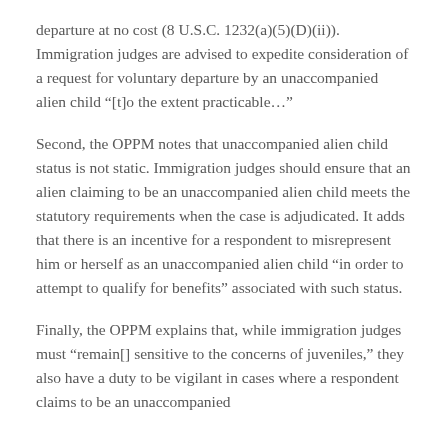departure at no cost (8 U.S.C. 1232(a)(5)(D)(ii)). Immigration judges are advised to expedite consideration of a request for voluntary departure by an unaccompanied alien child “[t]o the extent practicable…”
Second, the OPPM notes that unaccompanied alien child status is not static. Immigration judges should ensure that an alien claiming to be an unaccompanied alien child meets the statutory requirements when the case is adjudicated. It adds that there is an incentive for a respondent to misrepresent him or herself as an unaccompanied alien child “in order to attempt to qualify for benefits” associated with such status.
Finally, the OPPM explains that, while immigration judges must “remain[] sensitive to the concerns of juveniles,” they also have a duty to be vigilant in cases where a respondent claims to be an unaccompanied